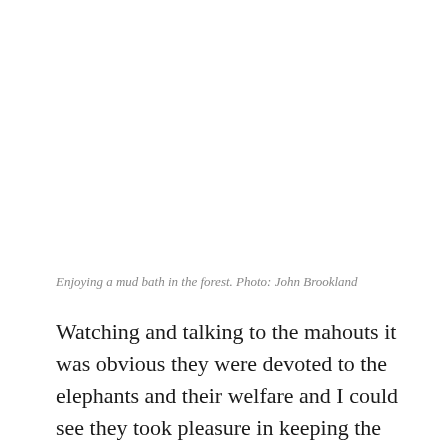Enjoying a mud bath in the forest. Photo: John Brookland
Watching and talking to the mahouts it was obvious they were devoted to the elephants and their welfare and I could see they took pleasure in keeping the elephants happy often going out of their way to provide treats like